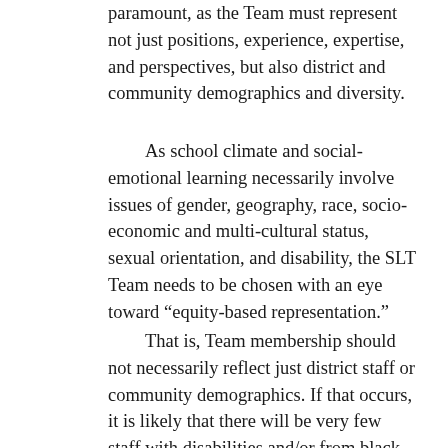paramount, as the Team must represent not just positions, experience, expertise, and perspectives, but also district and community demographics and diversity.
As school climate and social-emotional learning necessarily involve issues of gender, geography, race, socio-economic and multi-cultural status, sexual orientation, and disability, the SLT Team needs to be chosen with an eye toward “equity-based representation."
That is, Team membership should not necessarily reflect just district staff or community demographics. If that occurs, it is likely that there will be very few staff with disabilities and/or from black, brown, and other multicultural backgrounds on the Team. If we are truly committed to giving voice to staff (and students) from these backgrounds, it is not appropriate to put these few individuals in a